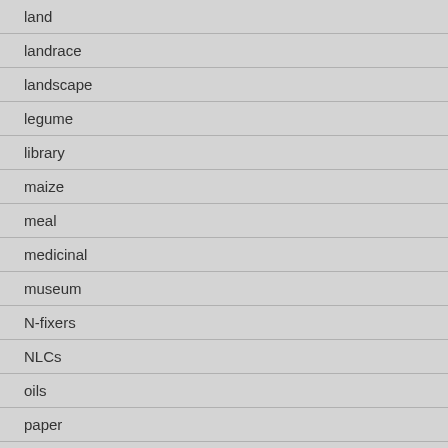land
landrace
landscape
legume
library
maize
meal
medicinal
museum
N-fixers
NLCs
oils
paper